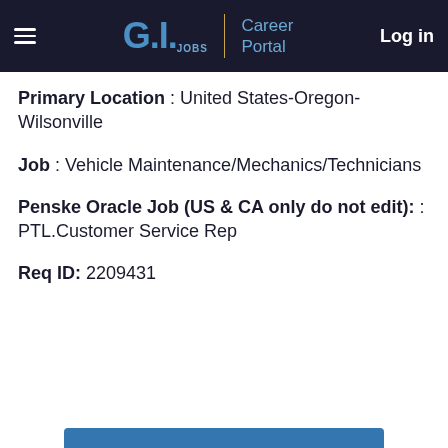G.I. Jobs | Career Portal  Log in
Primary Location : United States-Oregon-Wilsonville
Job : Vehicle Maintenance/Mechanics/Technicians
Penske Oracle Job (US & CA only do not edit): : PTL.Customer Service Rep
Req ID: 2209431